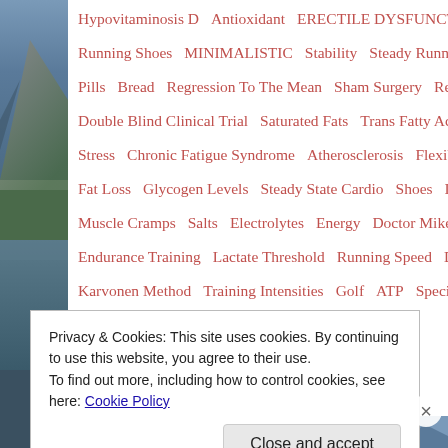[Figure (photo): Mountain and lake landscape photo strip on left side of page]
Hypovitaminosis D   Antioxidant   ERECTILE DYSFUNCTION
Running Shoes   MINIMALISTIC   Stability   Steady Running
Pills   Bread   Regression To The Mean   Sham Surgery   Re
Double Blind Clinical Trial   Saturated Fats   Trans Fatty Acids
Stress   Chronic Fatigue Syndrome   Atherosclerosis   Flexibil
Fat Loss   Glycogen Levels   Steady State Cardio   Shoes
Muscle Cramps   Salts   Electrolytes   Energy   Doctor Mike
Endurance Training   Lactate Threshold   Running Speed   De
Karvonen Method   Training Intensities   Golf   ATP   Speci
Privacy & Cookies: This site uses cookies. By continuing to use this website, you agree to their use.
To find out more, including how to control cookies, see here: Cookie Policy
Close and accept